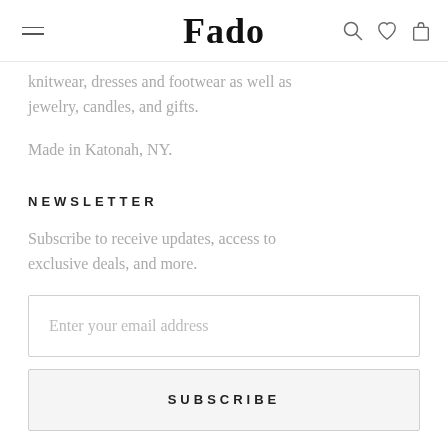Fado
knitwear, dresses and footwear as well as jewelry, candles, and gifts.
Made in Katonah, NY.
NEWSLETTER
Subscribe to receive updates, access to exclusive deals, and more.
Enter your email address
SUBSCRIBE